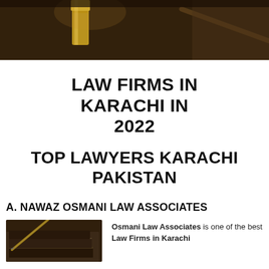[Figure (photo): Dark background photo showing law-related golden object (gavel or scale) on a brown surface]
LAW FIRMS IN KARACHI IN 2022
TOP LAWYERS KARACHI PAKISTAN
A. NAWAZ OSMANI LAW ASSOCIATES
[Figure (photo): Photo of stacked law books with a pen on top]
Osmani Law Associates is one of the best Law Firms in Karachi